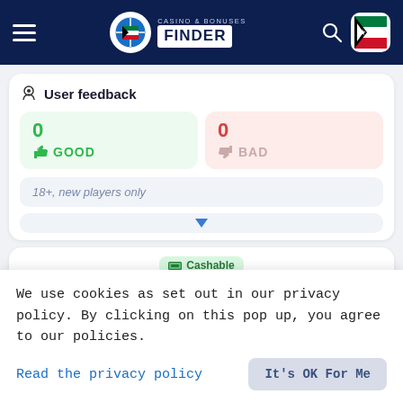Casino & Bonuses Finder
User feedback
0 GOOD
0 BAD
18+, new players only
Cashable
ICEBET — Rating: 6.23/10
We use cookies as set out in our privacy policy. By clicking on this pop up, you agree to our policies.
Read the privacy policy
It's OK For Me